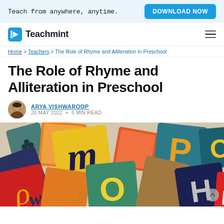Teach from anywhere, anytime. | DOWNLOAD NOW
[Figure (logo): Teachmint logo with book icon and text 'Teachmint']
Home > Teachers > The Role of Rhyme and Alliteration in Preschool
The Role of Rhyme and Alliteration in Preschool
ARYA VISHWAROOP
26 MAY 2022 • 5 MIN READ
[Figure (photo): Colorful letter tiles scattered on a surface, showing letters M, P, O, H in various colors including orange, blue, teal, red, and yellow]